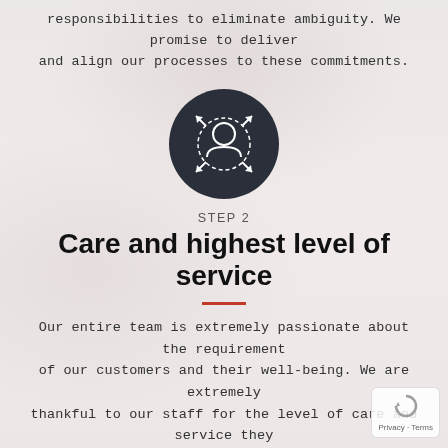responsibilities to eliminate ambiguity. We promise to deliver and align our processes to these commitments.
[Figure (illustration): Dark navy circular icon with a person/customer service figure in center, arrows pointing outward in four diagonal directions, on a light pinkish-grey background]
STEP 2
Care and highest level of service
Our entire team is extremely passionate about the requirement of our customers and their well-being. We are extremely thankful to our staff for the level of care and service they provide to our clients.
[Figure (illustration): Red circular icon with speech/chat bubbles and a person figure, representing communication and customer service]